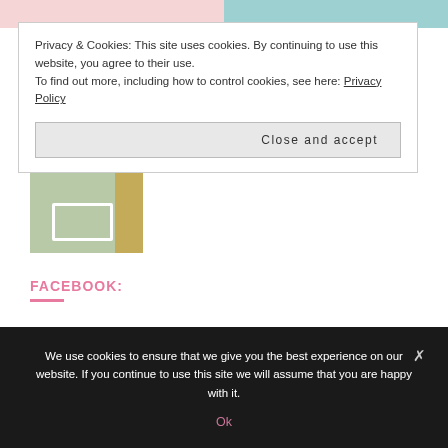[Figure (photo): Top image strip showing two bedroom/nursery photos side by side]
Privacy & Cookies: This site uses cookies. By continuing to use this website, you agree to their use.
To find out more, including how to control cookies, see here: Privacy Policy
Close and accept
[Figure (photo): Nursery room photo with white crib and orange/yellow curtains]
FACEBOOK:
We use cookies to ensure that we give you the best experience on our website. If you continue to use this site we will assume that you are happy with it.
Ok